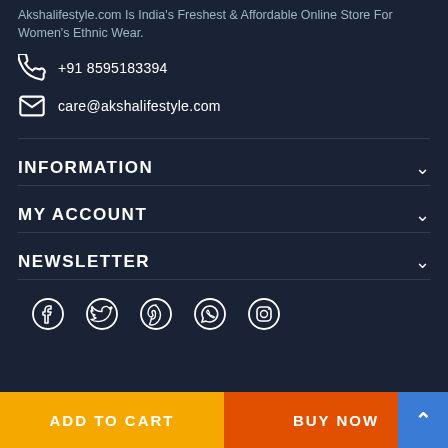Akshalifestyle.com Is India's Freshest & Affordable Online Store For Women's Ethnic Wear.
+91 8595183394
care@akshalifestyle.com
INFORMATION
MY ACCOUNT
NEWSLETTER
[Figure (illustration): Social media icons row: Facebook, Twitter, Pinterest, WhatsApp, Instagram]
ADD TO CART
BUY NOW